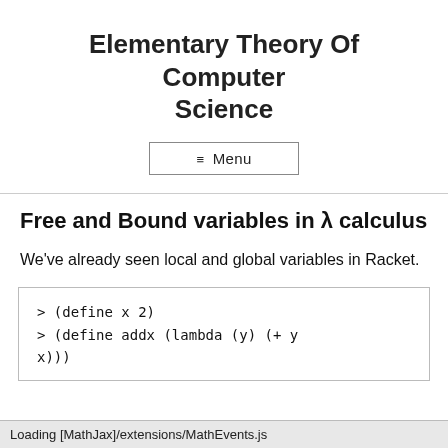Elementary Theory Of Computer Science
≡ Menu
Free and Bound variables in λ calculus
We've already seen local and global variables in Racket.
> (define x 2)
> (define addx (lambda (y) (+ y x)))
Loading [MathJax]/extensions/MathEvents.js